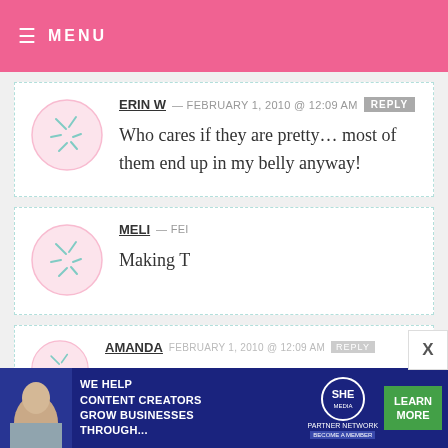≡ MENU
ERIN W — FEBRUARY 1, 2010 @ 12:09 AM REPLY
Who cares if they are pretty… most of them end up in my belly anyway!
MELI — FEI
Making T
AMANDA — FEBRUARY 1, 2010 @ 12:09 AM
[Figure (infographic): SHE Partner Network advertisement banner: WE HELP CONTENT CREATORS GROW BUSINESSES THROUGH... with LEARN MORE button]